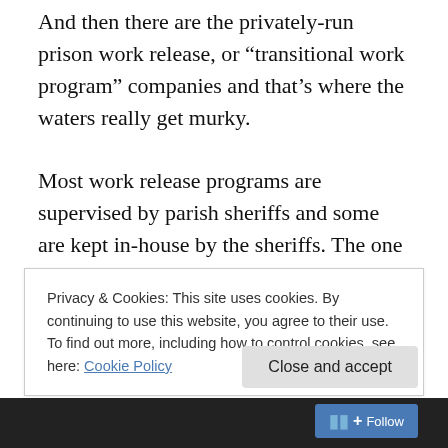And then there are the privately-run prison work release, or “transitional work program” companies and that’s where the waters really get murky.

Most work release programs are supervised by parish sheriffs and some are kept in-house by the sheriffs. The one common thread is that all of them use the profits from inmate labor to underwrite other operations of the sheriffs’ departments. There have been private work release companies to spring up, operate for a while and then disappear, notably Northside Workforce in St. Tammany Parish as well as privately-run programs in Lafayette and
Privacy & Cookies: This site uses cookies. By continuing to use this website, you agree to their use.
To find out more, including how to control cookies, see here: Cookie Policy